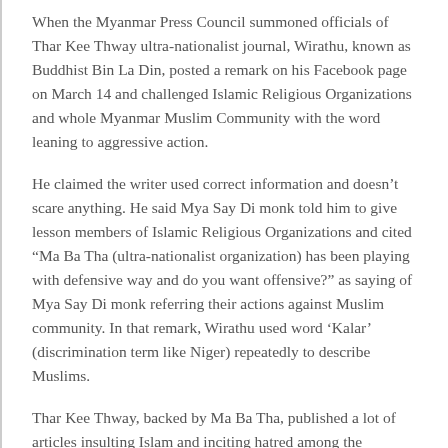When the Myanmar Press Council summoned officials of Thar Kee Thway ultra-nationalist journal, Wirathu, known as Buddhist Bin La Din, posted a remark on his Facebook page on March 14 and challenged Islamic Religious Organizations and whole Myanmar Muslim Community with the word leaning to aggressive action.
He claimed the writer used correct information and doesn't scare anything. He said Mya Say Di monk told him to give lesson members of Islamic Religious Organizations and cited “Ma Ba Tha (ultra-nationalist organization) has been playing with defensive way and do you want offensive?” as saying of Mya Say Di monk referring their actions against Muslim community. In that remark, Wirathu used word ‘Kalar’ (discrimination term like Niger) repeatedly to describe Muslims.
Thar Kee Thway, backed by Ma Ba Tha, published a lot of articles insulting Islam and inciting hatred among the